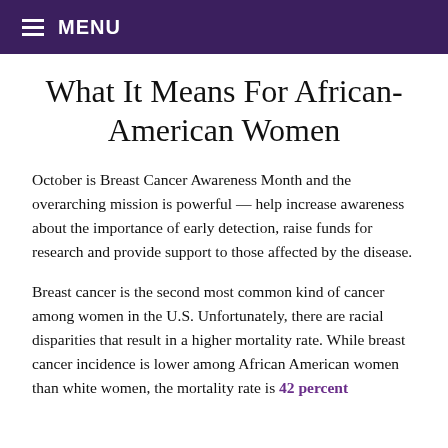≡ MENU
What It Means For African-American Women
October is Breast Cancer Awareness Month and the overarching mission is powerful — help increase awareness about the importance of early detection, raise funds for research and provide support to those affected by the disease.
Breast cancer is the second most common kind of cancer among women in the U.S. Unfortunately, there are racial disparities that result in a higher mortality rate. While breast cancer incidence is lower among African American women than white women, the mortality rate is 42 percent